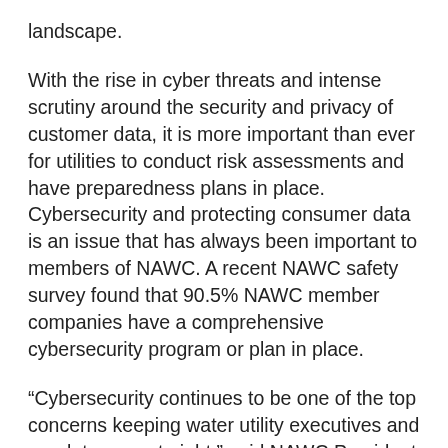landscape.
With the rise in cyber threats and intense scrutiny around the security and privacy of customer data, it is more important than ever for utilities to conduct risk assessments and have preparedness plans in place. Cybersecurity and protecting consumer data is an issue that has always been important to members of NAWC. A recent NAWC safety survey found that 90.5% NAWC member companies have a comprehensive cybersecurity program or plan in place.
“Cybersecurity continues to be one of the top concerns keeping water utility executives and regulators up at night,” said NAWC President and Chief Executive Officer Robert Powelson. “The Symposium provides a forum for attendees to hear from experts about best practices for effective cybersecurity programs and guidance for how to identify and address security